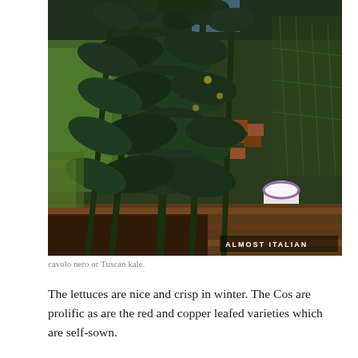[Figure (photo): Photograph of cavolo nero (Tuscan kale) plants growing in a raised garden bed with brick edging. Dark blue-green crinkled leaves dominate the foreground. A white cup is visible in the lower right. A green garden net is visible in the background right. Watermark reads 'ALMOST ITALIAN' in the lower right corner.]
cavolo nero or Tuscan kale.
The lettuces are nice and crisp in winter. The Cos are prolific as are the red and copper leafed varieties which are self-sown.